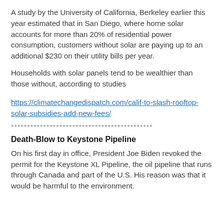A study by the University of California, Berkeley earlier this year estimated that in San Diego, where home solar accounts for more than 20% of residential power consumption, customers without solar are paying up to an additional $230 on their utility bills per year.
Households with solar panels tend to be wealthier than those without, according to studies
https://climatechangedispatch.com/calif-to-slash-rooftop-solar-subsidies-add-new-fees/
********************************************
Death-Blow to Keystone Pipeline
On his first day in office, President Joe Biden revoked the permit for the Keystone XL Pipeline, the oil pipeline that runs through Canada and part of the U.S. His reason was that it would be harmful to the environment.